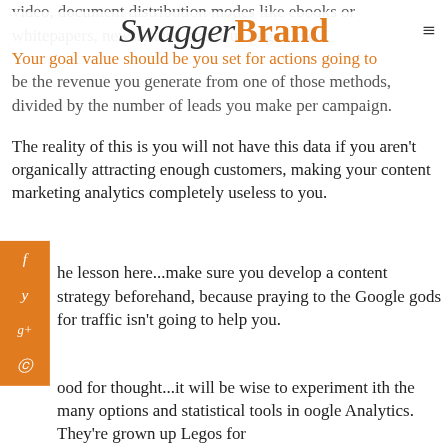SwaggerBrand
video, document distribution modes like ebooks or whitepapers, newsletters, about-us pages, etc. Your goal value should be you set for actions going to be the revenue you generate from one of those methods, divided by the number of leads you make per campaign.
The reality of this is you will not have this data if you aren't organically attracting enough customers, making your content marketing analytics completely useless to you.
The lesson here...make sure you develop a content strategy beforehand, because praying to the Google gods for traffic isn't going to help you.
Food for thought...it will be wise to experiment with the many options and statistical tools in Google Analytics. They're grown up Legos for